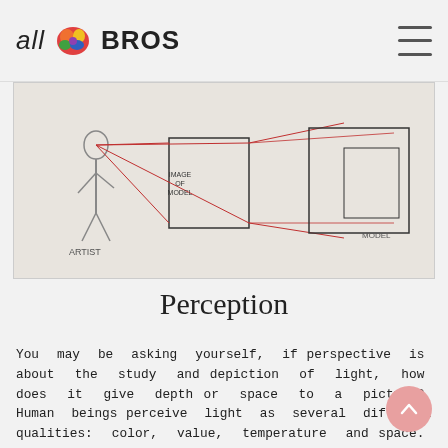all BROS (logo with brain icon and hamburger menu)
[Figure (illustration): A perspective drawing diagram showing an artist, image plane, and model with converging lines illustrating perspective projection. Labels visible: 'IMAGE OF MODEL', 'MODEL', 'ARTIST'.]
Perception
You may be asking yourself, if perspective is about the study and depiction of light, how does it give depth or space to a picture? Human beings perceive light as several different qualities: color, value, temperature and space. In regard to the latter quality, not only do we perceive light as space but our depth perception is uniquely human — no other mammal has the visual acuity for